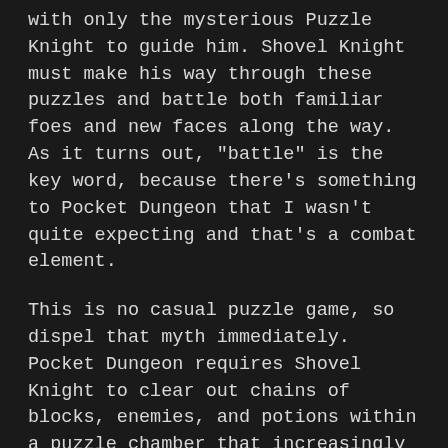with only the mysterious Puzzle Knight to guide him. Shovel Knight must make his way through these puzzles and battle both familiar foes and new faces along the way. As it turns out, "battle" is the key word, because there's something to Pocket Dungeon that I wasn't quite expecting and that's a combat element.
This is no casual puzzle game, so dispel that myth immediately. Pocket Dungeon requires Shovel Knight to clear out chains of blocks, enemies, and potions within a puzzle chamber that increasingly fills up. On the surface, it looks like something akin to Bust A Groove or Panel de Pon/Tetris Attack. However, the enemies all fight back, each with different patterns, and many of them will hurt Shovel Knight with attacks that cannot be countered. Because of that, players must make sure to balance attacking with healing, all while keeping a